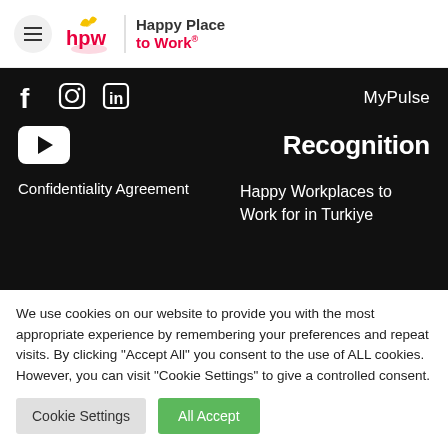Happy Place to Work
MyPulse
Recognition
Confidentiality Agreement
Happy Workplaces to Work for in Turkiye
We use cookies on our website to provide you with the most appropriate experience by remembering your preferences and repeat visits. By clicking "Accept All" you consent to the use of ALL cookies. However, you can visit "Cookie Settings" to give a controlled consent.
Cookie Settings
All Accept